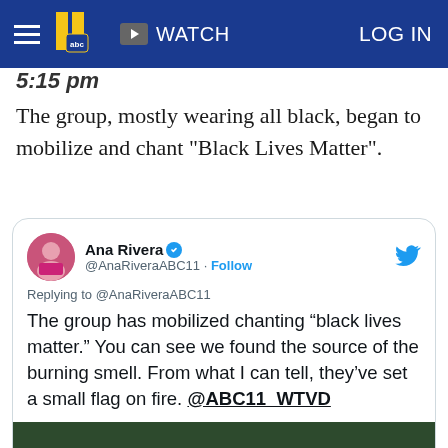ABC 11 WATCH LOG IN (navigation bar)
5:15 pm
The group, mostly wearing all black, began to mobilize and chant "Black Lives Matter".
[Figure (screenshot): Embedded tweet from Ana Rivera (@AnaRiveraABC11) replying to @AnaRiveraABC11: 'The group has mobilized chanting "black lives matter." You can see we found the source of the burning smell. From what I can tell, they've set a small flag on fire. @ABC11_WTVD' with a Watch on Twitter video thumbnail.]